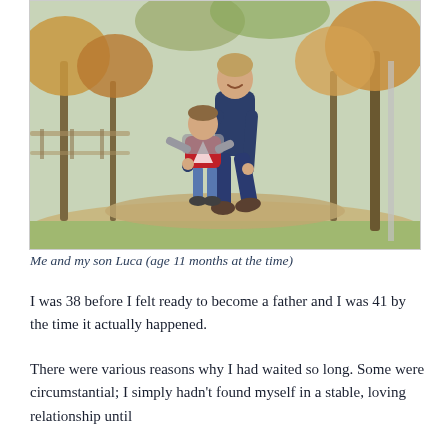[Figure (photo): A man helping a toddler walk in a park setting. The man is wearing a dark navy jacket and jeans, leaning forward holding both hands of a small child in a red sweater and grey jacket. Background shows trees with autumn foliage.]
Me and my son Luca (age 11 months at the time)
I was 38 before I felt ready to become a father and I was 41 by the time it actually happened.
There were various reasons why I had waited so long. Some were circumstantial; I simply hadn't found myself in a stable, loving relationship until